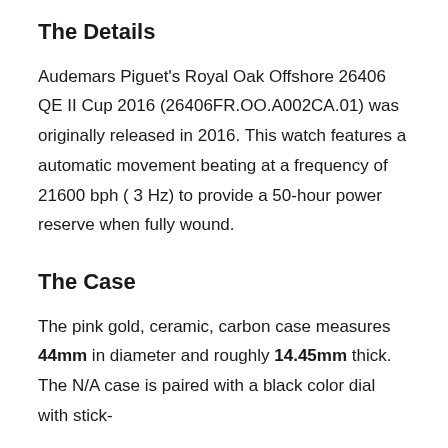The Details
Audemars Piguet's Royal Oak Offshore 26406 QE II Cup 2016 (26406FR.OO.A002CA.01) was originally released in 2016. This watch features a automatic movement beating at a frequency of 21600 bph ( 3 Hz) to provide a 50-hour power reserve when fully wound.
The Case
The pink gold, ceramic, carbon case measures 44mm in diameter and roughly 14.45mm thick. The N/A case is paired with a black color dial with stick-